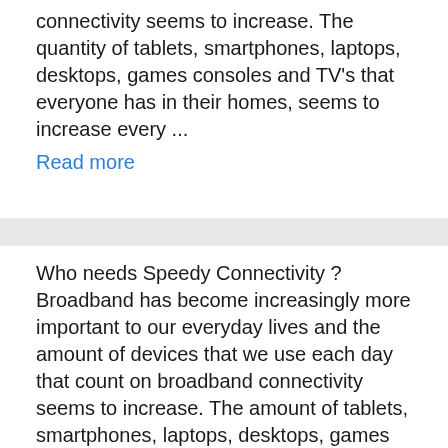connectivity seems to increase. The quantity of tablets, smartphones, laptops, desktops, games consoles and TV's that everyone has in their homes, seems to increase every ...
Read more
Who needs Speedy Connectivity ? Broadband has become increasingly more important to our everyday lives and the amount of devices that we use each day that count on broadband connectivity seems to increase. The amount of tablets, smartphones, laptops, desktops, games consoles and TV's that each person has in their homes, seems